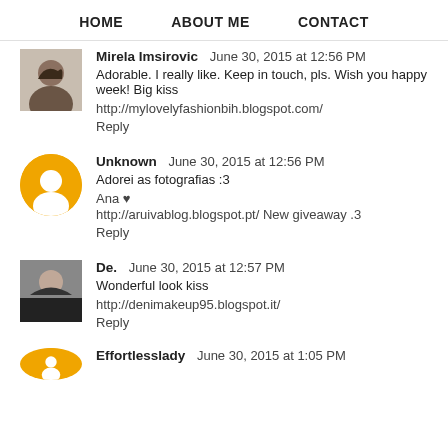HOME   ABOUT ME   CONTACT
Mirela Imsirovic   June 30, 2015 at 12:56 PM
Adorable. I really like. Keep in touch, pls. Wish you happy week! Big kiss
http://mylovelyfashionbih.blogspot.com/
Reply
Unknown   June 30, 2015 at 12:56 PM
Adorei as fotografias :3
Ana ♥
http://aruivablog.blogspot.pt/ New giveaway .3
Reply
De.   June 30, 2015 at 12:57 PM
Wonderful look kiss
http://denimakeup95.blogspot.it/
Reply
Effortlesslady   June 30, 2015 at 1:05 PM